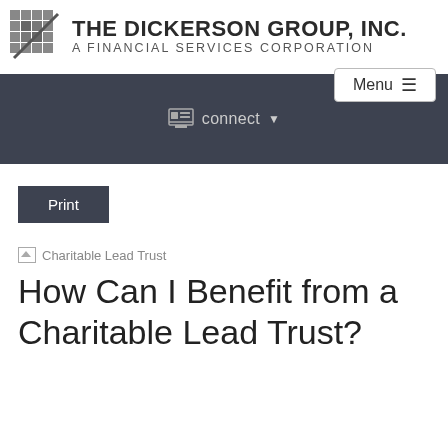[Figure (logo): The Dickerson Group, Inc. logo with grid icon and text 'THE DICKERSON GROUP, INC.' and 'A FINANCIAL SERVICES CORPORATION']
Menu ≡
connect ▼
Print
[Figure (illustration): Charitable Lead Trust image placeholder]
How Can I Benefit from a Charitable Lead Trust?